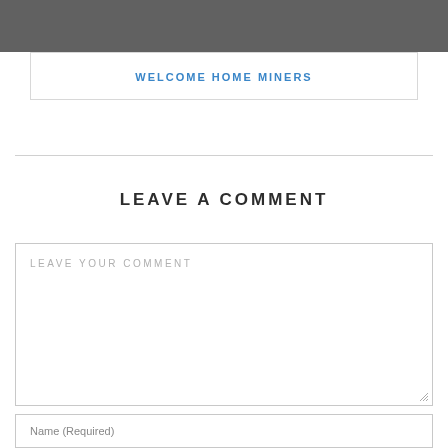[Figure (other): Gray header banner/bar at top of page]
WELCOME HOME MINERS
LEAVE A COMMENT
LEAVE YOUR COMMENT
Name (Required)